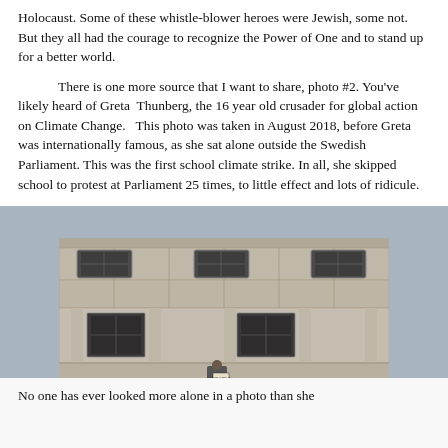Holocaust.  Some of these whistle-blower heroes were Jewish, some not.  But they all had the courage to recognize the Power of One and to stand up for a better world.

There is one more source that I want to share, photo #2.  You've likely heard of Greta  Thunberg, the 16 year old crusader for global action on Climate Change.   This photo was taken in August 2018, before Greta was internationally famous, as she sat alone outside the Swedish Parliament.  This was the first school climate strike. In all, she skipped school to protest at Parliament 25 times, to little effect and lots of ridicule.
[Figure (photo): Black and white photograph of a lone small figure (Greta Thunberg) sitting outside the Swedish Parliament building with a sign. The building facade shows large stone blocks, windows with ornate metalwork. The figure sits at the base of the wall with a sign reading 'SKOLSTREJK FOR KLIMATET'.]
No one has ever looked more alone in a photo than she